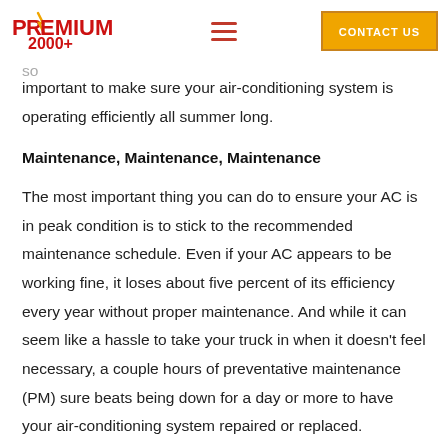Premium 2000+ | Navigation | CONTACT US
affect your driving performance and safety. That's why it is so important to make sure your air-conditioning system is operating efficiently all summer long.
Maintenance, Maintenance, Maintenance
The most important thing you can do to ensure your AC is in peak condition is to stick to the recommended maintenance schedule. Even if your AC appears to be working fine, it loses about five percent of its efficiency every year without proper maintenance. And while it can seem like a hassle to take your truck in when it doesn't feel necessary, a couple hours of preventative maintenance (PM) sure beats being down for a day or more to have your air-conditioning system repaired or replaced.